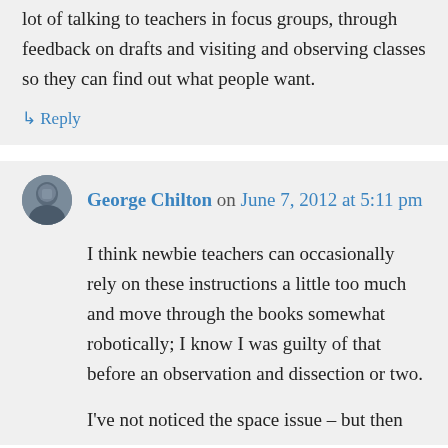lot of talking to teachers in focus groups, through feedback on drafts and visiting and observing classes so they can find out what people want.
↳ Reply
George Chilton on June 7, 2012 at 5:11 pm
I think newbie teachers can occasionally rely on these instructions a little too much and move through the books somewhat robotically; I know I was guilty of that before an observation and dissection or two.
I've not noticed the space issue – but then